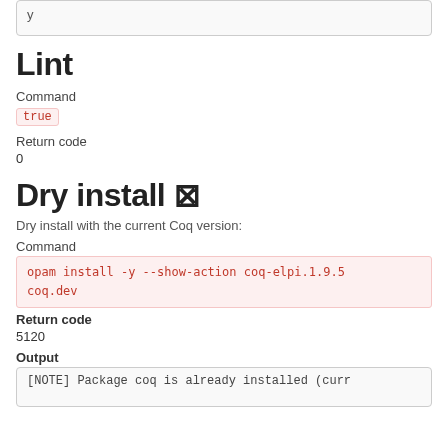y
Lint
Command
true
Return code
0
Dry install ⊠
Dry install with the current Coq version:
Command
opam install -y --show-action coq-elpi.1.9.5 coq.dev
Return code
5120
Output
[NOTE] Package coq is already installed (curr